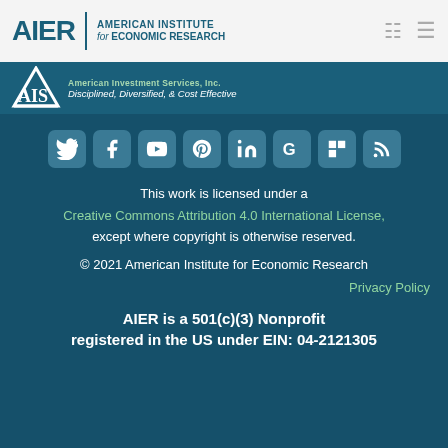[Figure (logo): AIER - American Institute for Economic Research logo with calculator and menu icons]
[Figure (logo): AIS - American Investment Services, Inc. logo with tagline Disciplined, Diversified, & Cost Effective]
[Figure (infographic): Social media icons row: Twitter, Facebook, YouTube, Pinterest, LinkedIn, Google, Flipboard, RSS]
This work is licensed under a
Creative Commons Attribution 4.0 International License,
except where copyright is otherwise reserved.
© 2021 American Institute for Economic Research
Privacy Policy
AIER is a 501(c)(3) Nonprofit registered in the US under EIN: 04-2121305